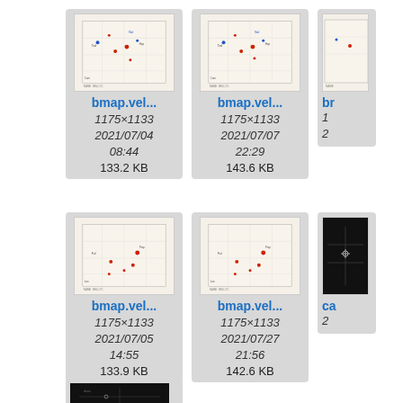[Figure (screenshot): File browser grid view showing map image thumbnails with filenames, dimensions, dates, and file sizes. Row 1: bmap.vel... (1175x1133, 2021/07/04 08:44, 133.2 KB), bmap.vel... (1175x1133, 2021/07/07 22:29, 143.6 KB), partial third item. Row 2: bmap.vel... (1175x1133, 2021/07/05 14:55, 133.9 KB), bmap.vel... (1175x1133, 2021/07/27 21:56, 142.6 KB), partial ca... item. Row 3: partial dark thumbnail at bottom left.]